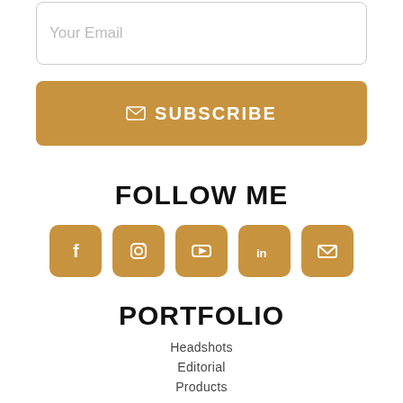Your Email
✉ SUBSCRIBE
FOLLOW ME
[Figure (infographic): Five social media icon buttons in gold/brown color: Facebook, Instagram, YouTube, LinkedIn, Email]
PORTFOLIO
Headshots
Editorial
Products